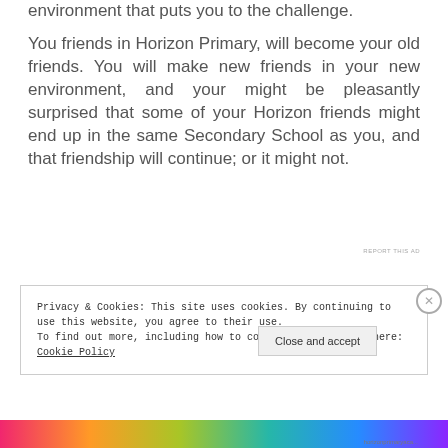environment that puts you to the challenge.
You friends in Horizon Primary, will become your old friends. You will make new friends in your new environment, and your might be pleasantly surprised that some of your Horizon friends might end up in the same Secondary School as you, and that friendship will continue; or it might not.
REPORT THIS AD
Privacy & Cookies: This site uses cookies. By continuing to use this website, you agree to their use.
To find out more, including how to control cookies, see here: Cookie Policy
Close and accept
[Figure (illustration): Colorful decorative banner strip at the bottom of the page]